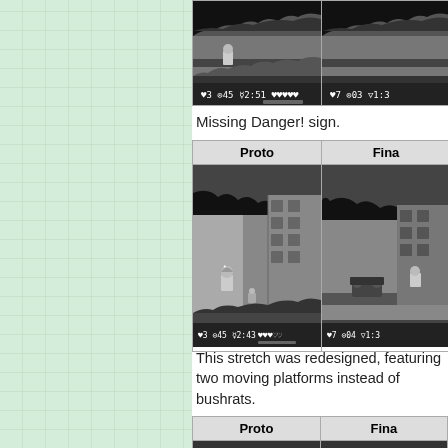[Figure (screenshot): Two game screenshots side by side showing Proto and Final versions of a Game Boy game level. Left shows HUD with: 3, 45, 2:51, hearts. Right shows HUD with: 7, 03, 1:3...]
Missing Danger! sign.
[Figure (screenshot): Comparison table with Proto and Final headers. Left screenshot shows Game Boy game character in a level with patterned wall, HUD: 3, 45, 2:43, hearts. Right screenshot shows different level design with character and tank-like enemy, HUD: 7, 04, 1:3...]
This stretch was redesigned, featuring two moving platforms instead of bushrats.
[Figure (screenshot): Comparison table with Proto and Final headers, bottom portion cut off.]